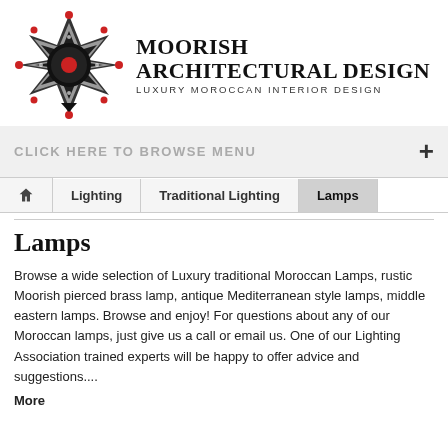[Figure (logo): Moorish Architectural Design logo: geometric star/mandala pattern in black with red accent dots, with brand name and tagline]
MOORISH ARCHITECTURAL DESIGN
LUXURY MOROCCAN INTERIOR DESIGN
CLICK HERE TO BROWSE MENU
🏠  Lighting  Traditional Lighting  Lamps
Lamps
Browse a wide selection of Luxury traditional Moroccan Lamps, rustic Moorish pierced brass lamp, antique Mediterranean style lamps, middle eastern lamps. Browse and enjoy! For questions about any of our Moroccan lamps, just give us a call or email us. One of our Lighting Association trained experts will be happy to offer advice and suggestions....
More